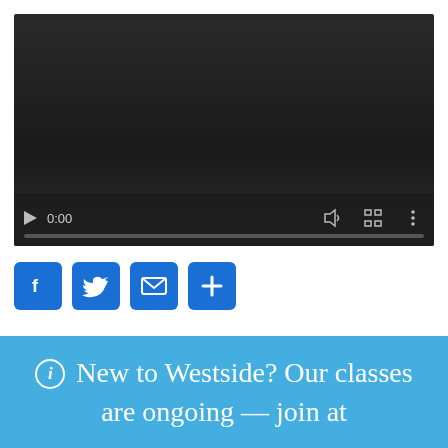[Figure (screenshot): Video player with dark background showing 0:00 timestamp, play button, progress bar, volume, fullscreen and more controls]
[Figure (infographic): Four blue social share buttons: Facebook (f), Twitter (bird), Email (envelope), and More (+)]
ℹ New to Westside? Our classes are ongoing — join at